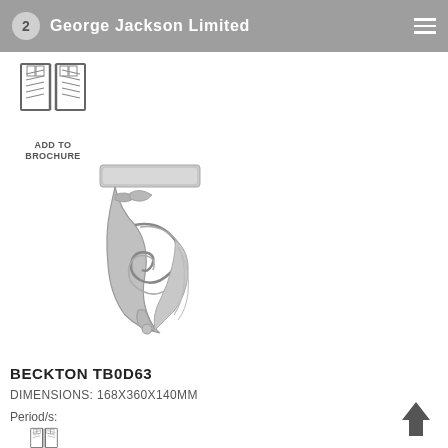Period/s:
George Jackson Limited
[Figure (logo): Open book / brochure icon with ADD TO BROCHURE label]
[Figure (photo): Decorative plaster corbel bracket - Beckton TB0D63, ornate acanthus scroll design, silver/grey finish]
BECKTON TB0D63
DIMENSIONS: 168X360X140MM
Period/s:
[Figure (logo): Partial open book / brochure icon at bottom of page]